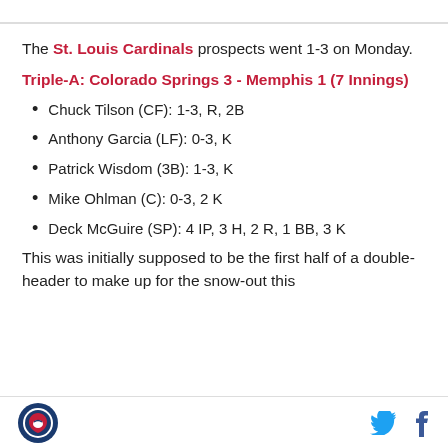The St. Louis Cardinals prospects went 1-3 on Monday.
Triple-A: Colorado Springs 3 - Memphis 1 (7 Innings)
Chuck Tilson (CF): 1-3, R, 2B
Anthony Garcia (LF): 0-3, K
Patrick Wisdom (3B): 1-3, K
Mike Ohlman (C): 0-3, 2 K
Deck McGuire (SP): 4 IP, 3 H, 2 R, 1 BB, 3 K
This was initially supposed to be the first half of a double-header to make up for the snow-out this...
Cardinals logo, Twitter icon, Facebook icon